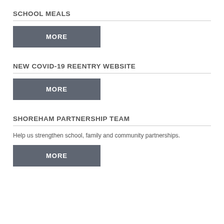SCHOOL MEALS
[Figure (other): MORE button for School Meals]
NEW COVID-19 REENTRY WEBSITE
[Figure (other): MORE button for New Covid-19 Reentry Website]
SHOREHAM PARTNERSHIP TEAM
Help us strengthen school, family and community partnerships.
[Figure (other): MORE button for Shoreham Partnership Team]